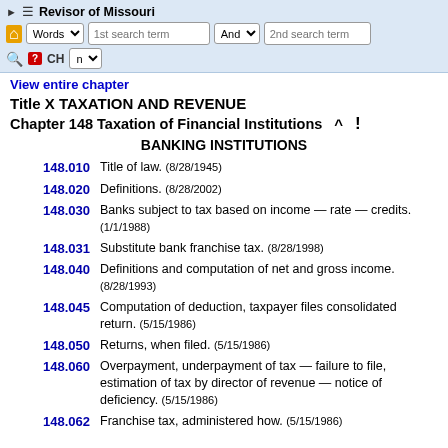Revisor of Missouri — navigation header with search controls
View entire chapter
Title X TAXATION AND REVENUE
Chapter 148 Taxation of Financial Institutions
BANKING INSTITUTIONS
148.010 — Title of law. (8/28/1945)
148.020 — Definitions. (8/28/2002)
148.030 — Banks subject to tax based on income — rate — credits. (1/1/1988)
148.031 — Substitute bank franchise tax. (8/28/1998)
148.040 — Definitions and computation of net and gross income. (8/28/1993)
148.045 — Computation of deduction, taxpayer files consolidated return. (5/15/1986)
148.050 — Returns, when filed. (5/15/1986)
148.060 — Overpayment, underpayment of tax — failure to file, estimation of tax by director of revenue — notice of deficiency. (5/15/1986)
148.062 — Franchise tax, administered how. (5/15/1986)